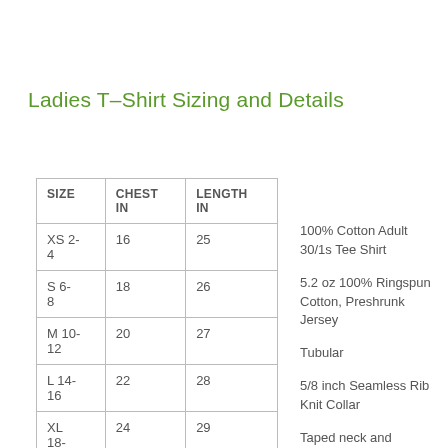Ladies T–Shirt Sizing and Details
| SIZE | CHEST IN | LENGTH IN |
| --- | --- | --- |
| XS 2-4 | 16 | 25 |
| S 6-8 | 18 | 26 |
| M 10-12 | 20 | 27 |
| L 14-16 | 22 | 28 |
| XL 18-20 | 24 | 29 |
100% Cotton Adult 30/1s Tee Shirt
5.2 oz 100% Ringspun Cotton, Preshrunk Jersey
Tubular
5/8 inch Seamless Rib Knit Collar
Taped neck and shoulders
Double-Needle